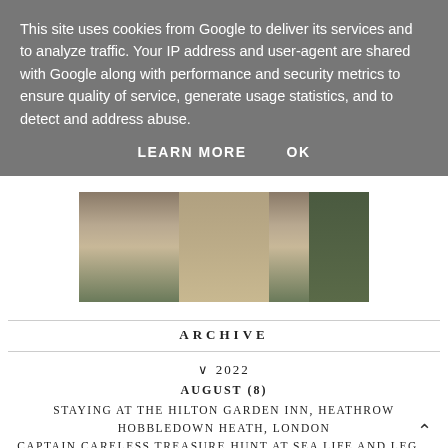This site uses cookies from Google to deliver its services and to analyze traffic. Your IP address and user-agent are shared with Google along with performance and security metrics to ensure quality of service, generate usage statistics, and to detect and address abuse.
LEARN MORE   OK
[Figure (photo): Outdoor dirt path or trail with greenery on the sides, viewed from above/angle]
ARCHIVE
∨ 2022
AUGUST (8)
STAYING AT THE HILTON GARDEN INN, HEATHROW
HOBBLEDOWN HEATH, LONDON
CAPTAIN CARELESS TREASURE HUNT AT SEA LIFE AND LEG...
SAND SCULPTURE TRAIL, BLACKBURN
BACK TO SCHOOL WITH BOOKS2DOOR